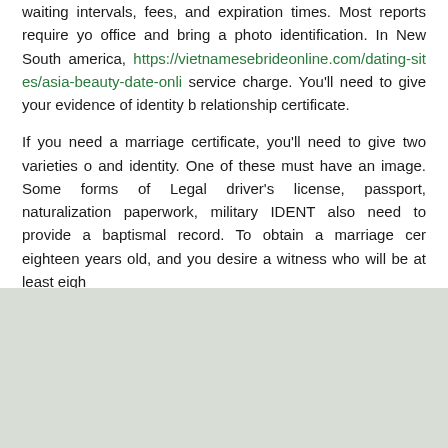waiting intervals, fees, and expiration times. Most reports require you office and bring a photo identification. In New South america, https://vietnamesebrideonline.com/dating-sites/asia-beauty-date-online service charge. You'll need to give your evidence of identity b relationship certificate.
If you need a marriage certificate, you'll need to give two varieties o and identity. One of these must have an image. Some forms of Lega driver's license, passport, naturalization paperwork, military IDENT also need to provide a baptismal record. To obtain a marriage cer eighteen years old, and you desire a witness who will be at least eigh
Noticia publicada el 17 de Noviembre de 2021